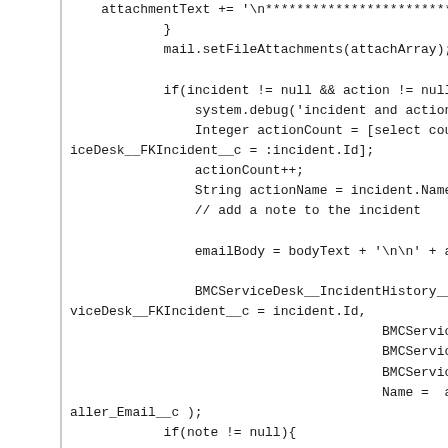[Figure (screenshot): Source code snippet in a monospace font showing Apex/Java-like code. The code includes: attachmentText concatenation, mail.setFileAttachments, incident/action null checks, system.debug, Integer actionCount SOQL query, actionCount++, String actionName, email body assignment, BMCServiceDesk__IncidentHistory__c object creation, and an if(note != null) check. Content is partially cut off on the right side.]